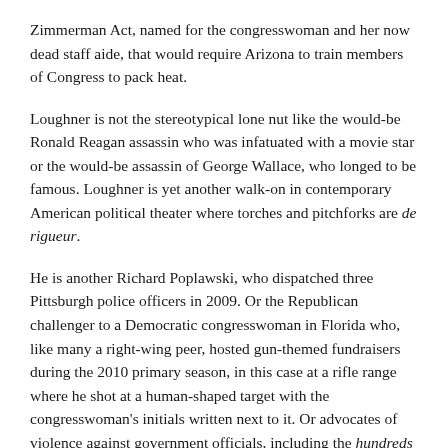Zimmerman Act, named for the congresswoman and her now dead staff aide, that would require Arizona to train members of Congress to pack heat.
Loughner is not the stereotypical lone nut like the would-be Ronald Reagan assassin who was infatuated with a movie star or the would-be assassin of George Wallace, who longed to be famous. Loughner is yet another walk-on in contemporary American political theater where torches and pitchforks are de rigueur.
He is another Richard Poplawski, who dispatched three Pittsburgh police officers in 2009. Or the Republican challenger to a Democratic congresswoman in Florida who, like many a right-wing peer, hosted gun-themed fundraisers during the 2010 primary season, in this case at a rifle range where he shot at a human-shaped target with the congresswoman's initials written next to it. Or advocates of violence against government officials, including the hundreds of people who sent threatening messages to the federal judge who died in the